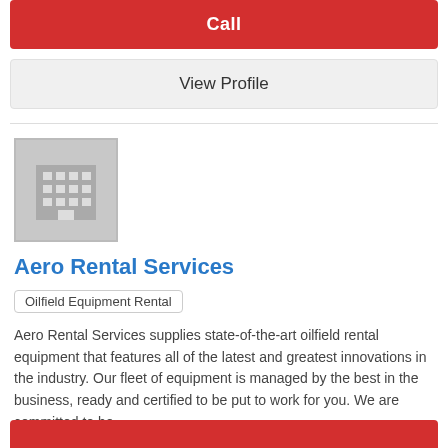Call
View Profile
[Figure (illustration): Grey building/office icon placeholder image]
Aero Rental Services
Oilfield Equipment Rental
Aero Rental Services supplies state-of-the-art oilfield rental equipment that features all of the latest and greatest innovations in the industry. Our fleet of equipment is managed by the best in the business, ready and certified to be put to work for you. We are committed to be...
Address:
10913 Enterprise Way Fort St John, BC
Phone:
(780) 567-0800